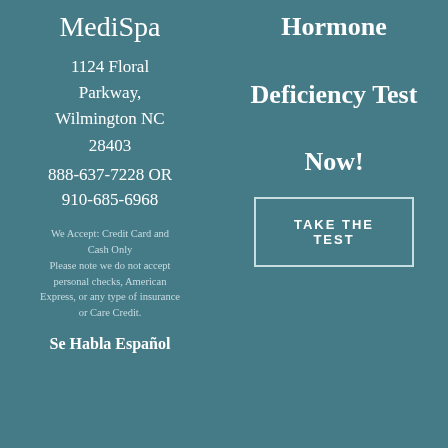MediSpa
1124 Floral Parkway, Wilmington NC 28403
888-637-7228 OR 910-685-6968
We Accept: Credit Card and Cash Only
Please note we do not accept personal checks, American Express, or any type of insurance or Care Credit.
Se Habla Español
Hormone Deficiency Test Now!
TAKE THE TEST